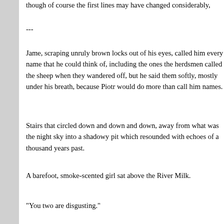though of course the first lines may have changed considerably,
---
Jame, scraping unruly brown locks out of his eyes, called him every name that he could think of, including the ones the herdsmen called the sheep when they wandered off, but he said them softly, mostly under his breath, because Piotr would do more than call him names.
Stairs that circled down and down and down, away from what was the night sky into a shadowy pit which resounded with echoes of a thousand years past.
A barefoot, smoke-scented girl sat above the River Milk.
"You two are disgusting."